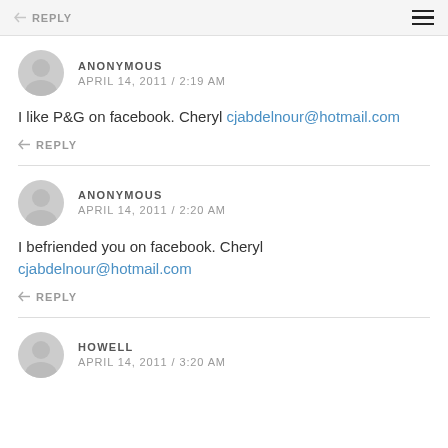REPLY
ANONYMOUS
APRIL 14, 2011 / 2:19 AM
I like P&G on facebook. Cheryl cjabdelnour@hotmail.com
REPLY
ANONYMOUS
APRIL 14, 2011 / 2:20 AM
I befriended you on facebook. Cheryl cjabdelnour@hotmail.com
REPLY
HOWELL
APRIL 14, 2011 / 3:20 AM